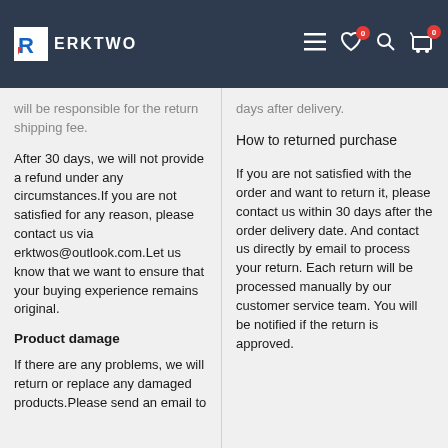ERKTWO
will be responsible for the return shipping fee.
After 30 days, we will not provide a refund under any circumstances.If you are not satisfied for any reason, please contact us via erktwos@outlook.com.Let us know that we want to ensure that your buying experience remains original.
Product damage
If there are any problems, we will return or replace any damaged products.Please send an email to
days after delivery.
How to returned purchase
If you are not satisfied with the order and want to return it, please contact us within 30 days after the order delivery date. And contact us directly by email to process your return. Each return will be processed manually by our customer service team. You will be notified if the return is approved.